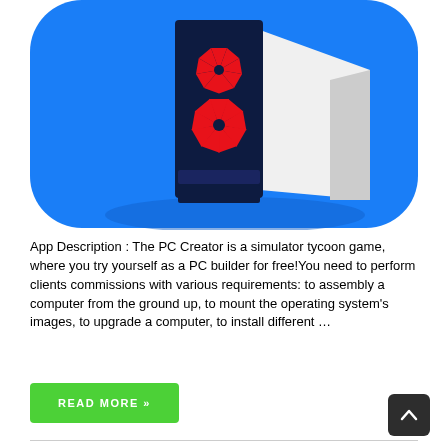[Figure (illustration): App icon illustration showing a stylized PC tower case on a blue rounded-rectangle background. The tower has a dark navy front panel with red pinwheel/fan blade designs and a white side panel.]
App Description : The PC Creator is a simulator tycoon game, where you try yourself as a PC builder for free!You need to perform clients commissions with various requirements: to assembly a computer from the ground up, to mount the operating system's images, to upgrade a computer, to install different …
READ MORE »